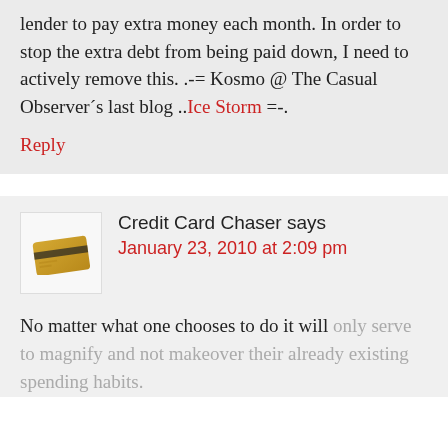lender to pay extra money each month. In order to stop the extra debt from being paid down, I need to actively remove this. .-= Kosmo @ The Casual Observer´s last blog ..Ice Storm =-.
Reply
Credit Card Chaser says
January 23, 2010 at 2:09 pm
No matter what one chooses to do it will only serve to magnify and not makeover their already existing spending habits.